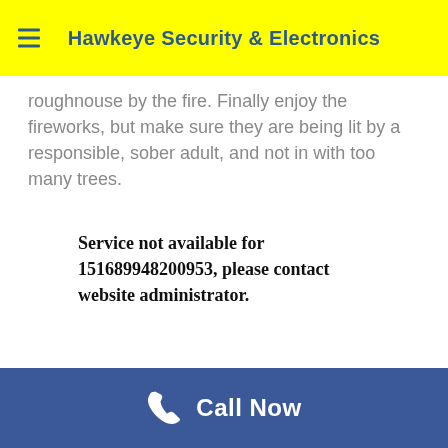Hawkeye Security & Electronics
roughnouse by the fire. Finally enjoy the fireworks, but make sure they are being lit by a responsible, sober adult, and not in with too many trees.
Service not available for 151689948200953, please contact website administrator.
Call Now